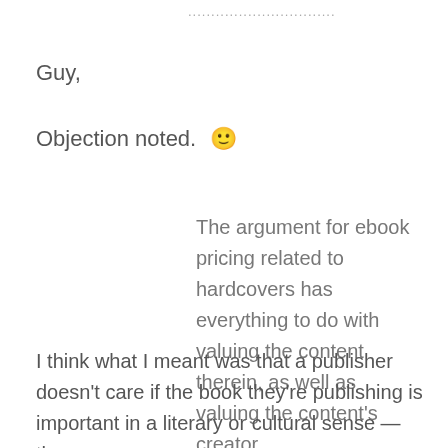................................
Guy,
Objection noted. 🙂
The argument for ebook pricing related to hardcovers has everything to do with valuing the content therein, as well as valuing the content's creator.
I think what I meant was that a publisher doesn't care if the book they're publishing is important in a literary or cultural sense — they